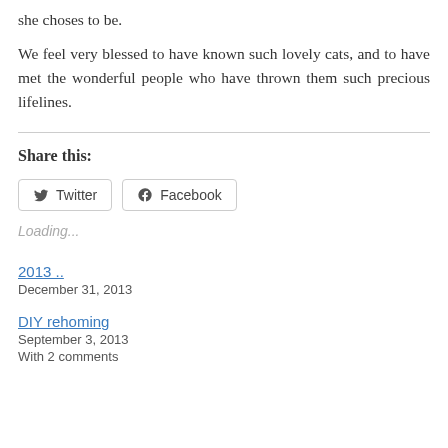she choses to be.
We feel very blessed to have known such lovely cats, and to have met the wonderful people who have thrown them such precious lifelines.
Share this:
Loading...
2013 ..
December 31, 2013
DIY rehoming
September 3, 2013
With 2 comments